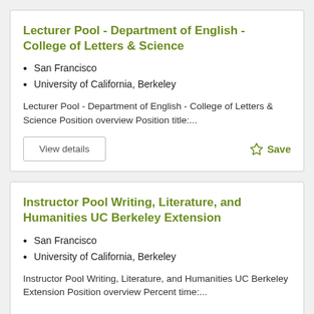Lecturer Pool - Department of English - College of Letters & Science
San Francisco
University of California, Berkeley
Lecturer Pool - Department of English - College of Letters & Science Position overview Position title:...
Instructor Pool Writing, Literature, and Humanities UC Berkeley Extension
San Francisco
University of California, Berkeley
Instructor Pool Writing, Literature, and Humanities UC Berkeley Extension Position overview Percent time:...